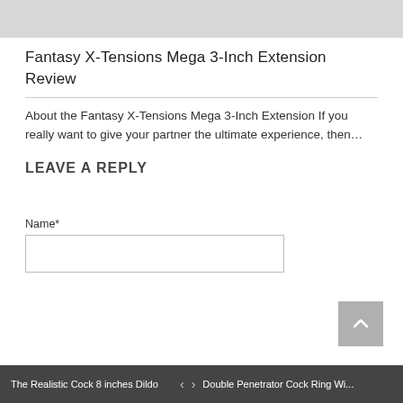[Figure (photo): Gray image bar at top of page]
Fantasy X-Tensions Mega 3-Inch Extension Review
About the Fantasy X-Tensions Mega 3-Inch Extension If you really want to give your partner the ultimate experience, then…
LEAVE A REPLY
Name*
The Realistic Cock 8 inches Dildo  <  >  Double Penetrator Cock Ring Wi...